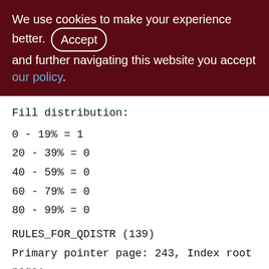We use cookies to make your experience better. By accepting and further navigating this website you accept our policy.
Fill distribution:
0 - 19% = 1
20 - 39% = 0
40 - 59% = 0
60 - 79% = 0
80 - 99% = 0
RULES_FOR_QDISTR (139)
Primary pointer page: 243, Index root page: 244
Total formats: 1, used formats: 1
Average record length: 32.71, total